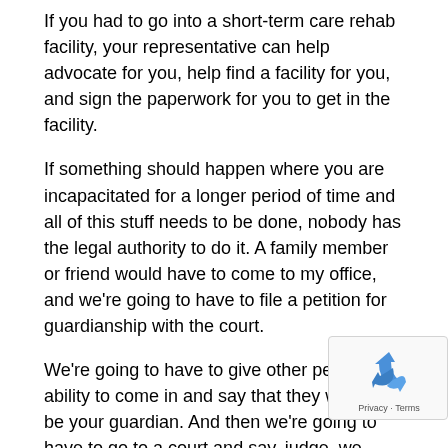If you had to go into a short-term care rehab facility, your representative can help advocate for you, help find a facility for you, and sign the paperwork for you to get in the facility.
If something should happen where you are incapacitated for a longer period of time and all of this stuff needs to be done, nobody has the legal authority to do it. A family member or friend would have to come to my office, and we're going to have to file a petition for guardianship with the court.
We're going to have to give other people the ability to come in and say that they want to be your guardian. And then we're going to have to go to a court and say, judge, we want you to appoint so-and-so guardian. This process costs money, requires energy, and possibly fighting between family members. This is something that you don't want where you can have $100 document, a power of attorney.
[Figure (logo): reCAPTCHA badge with recycling-arrow logo icon and Privacy · Terms text]